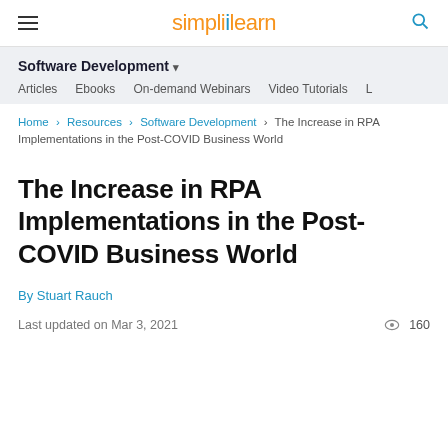simplilearn
Software Development
Articles   Ebooks   On-demand Webinars   Video Tutorials
Home > Resources > Software Development > The Increase in RPA Implementations in the Post-COVID Business World
The Increase in RPA Implementations in the Post-COVID Business World
By Stuart Rauch
Last updated on Mar 3, 2021   160